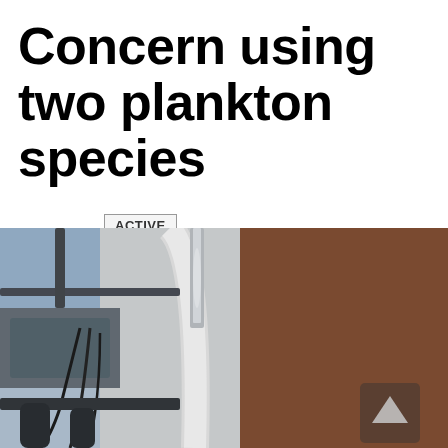Concern using two plankton species
ACTIVE
By New York Water Science Center
August 10, 2015
[Figure (photo): Close-up photograph of scientific equipment on a boat deck, showing cables and metal equipment against a blurred background of water and sky. A navigation arrow icon is overlaid in the lower right.]